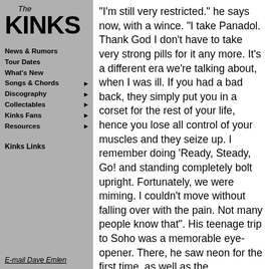[Figure (logo): The Kinks logo with 'The' in italic above large bold 'KINKS' text]
News & Rumors
Tour Dates
What's New
Songs & Chords ▶
Discography ▶
Collectables ▶
Kinks Fans ▶
Resources ▶
Kinks Links
E-mail Dave Emlen
"I'm still very restricted." he says now, with a wince. "I take Panadol. Thank God I don't have to take very strong pills for it any more. It's a different era we're talking about, when I was ill. If you had a bad back, they simply put you in a corset for the rest of your life, hence you lose all control of your muscles and they seize up. I remember doing 'Ready, Steady, Go! and standing completely bolt upright. Fortunately, we were miming. I couldn't move without falling over with the pain. Not many people know that". His teenage trip to Soho was a memorable eye-opener. There, he saw neon for the first time, as well as the transvestites that would fascinate him well into middle age, notably on the Kinks 1970 hit song, "Lola". Faced with the glare of WC2, he could not believe how secluded his life had been.